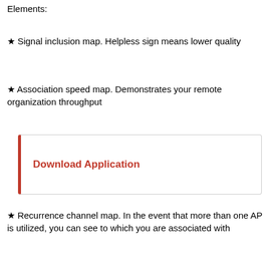Elements:
★ Signal inclusion map. Helpless sign means lower quality
★ Association speed map. Demonstrates your remote organization throughput
Download Application
★ Recurrence channel map. In the event that more than one AP is utilized, you can see to which you are associated with